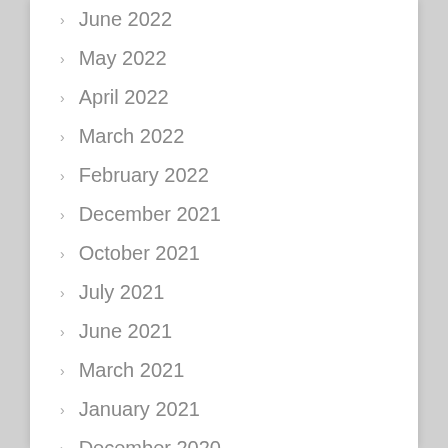June 2022
May 2022
April 2022
March 2022
February 2022
December 2021
October 2021
July 2021
June 2021
March 2021
January 2021
December 2020
May 2020
March 2020
July 2019